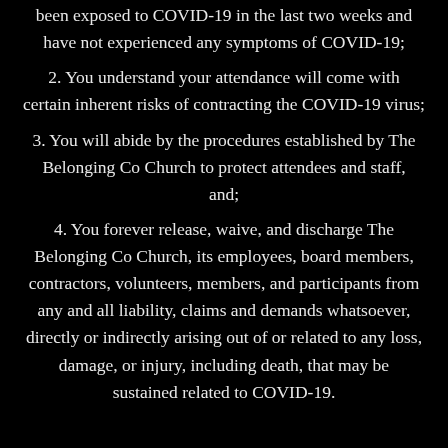been exposed to COVID-19 in the last two weeks and have not experienced any symptoms of COVID-19;
2. You understand your attendance will come with certain inherent risks of contracting the COVID-19 virus;
3. You will abide by the procedures established by The Belonging Co Church to protect attendees and staff, and;
4. You forever release, waive, and discharge The Belonging Co Church, its employees, board members, contractors, volunteers, members, and participants from any and all liability, claims and demands whatsoever, directly or indirectly arising out of or related to any loss, damage, or injury, including death, that may be sustained related to COVID-19.